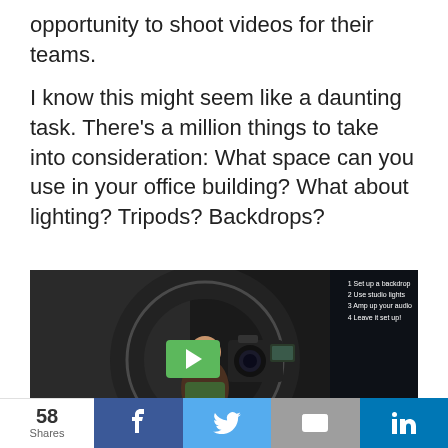opportunity to shoot videos for their teams.
I know this might seem like a daunting task. There's a million things to take into consideration: What space can you use in your office building? What about lighting? Tripods? Backdrops?
[Figure (photo): Video thumbnail showing a person seen through a ring light with a camera on a tripod, dark studio background, green play button overlay, and a numbered list overlay on the right side reading: 1 Set up a backdrop, 2 Use studio lights, 3 Amp up your audio, 4 Leave it set up!]
58 Shares